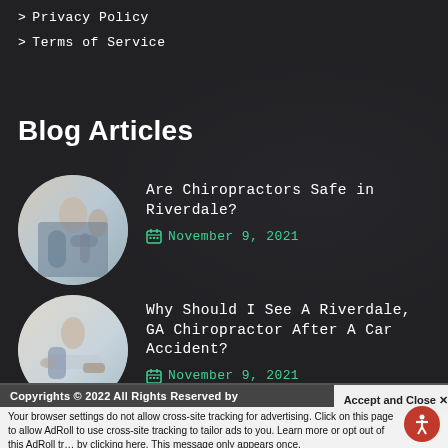> Privacy Policy
> Terms of Service
Blog Articles
[Figure (photo): Circular thumbnail of a chiropractor treating a patient]
Are Chiropractors Safe in Riverdale?
November 9, 2021
[Figure (photo): Circular thumbnail of a chiropractor treating a patient lying down]
Why Should I See A Riverdale, GA Chiropractor After A Car Accident?
November 9, 2021
Copyrights © 2022 All Rights Reserved by
Accept and Close ×
Your browser settings do not allow cross-site tracking for advertising. Click on this page to allow AdRoll to use cross-site tracking to tailor ads to you. Learn more or opt out of this AdRoll tracking by clicking here. This message only appears once.